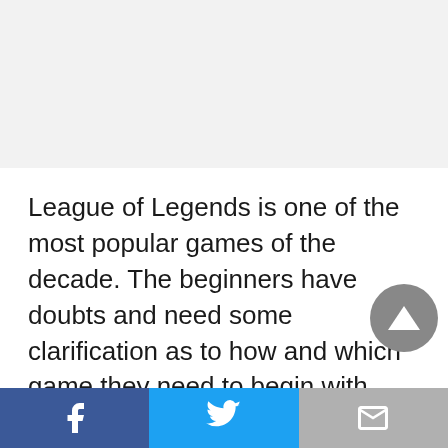[Figure (other): Advertisement / banner placeholder area with light gray background]
League of Legends is one of the most popular games of the decade. The beginners have doubts and need some clarification as to how and which game they need to begin with. The aspiring gamers can begin their gaming interest by choosing to play very simple yet interesting League of Legends Champions. The players need to designate themselves as some important League of Legend Champion and then get going
[Figure (other): Scroll-up button: dark gray circle with upward triangle arrow]
Facebook share | Twitter share | Gmail share